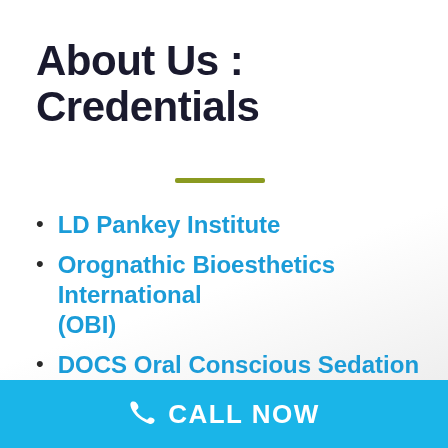About Us : Credentials
LD Pankey Institute
Orognathic Bioesthetics International (OBI)
DOCS Oral Conscious Sedation Certified
Tucker Gold Study Club
American Dental Association
New Mexico Dental Association
CALL NOW